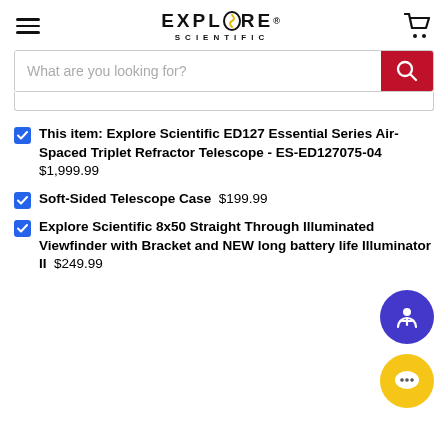Explore Scientific - website header with logo, hamburger menu, and cart icon
What are you looking for?
This item: Explore Scientific ED127 Essential Series Air-Spaced Triplet Refractor Telescope - ES-ED127075-04  $1,999.99
Soft-Sided Telescope Case  $199.99
Explore Scientific 8x50 Straight Through Illuminated Viewfinder with Bracket and NEW long battery life Illuminator II  $249.99